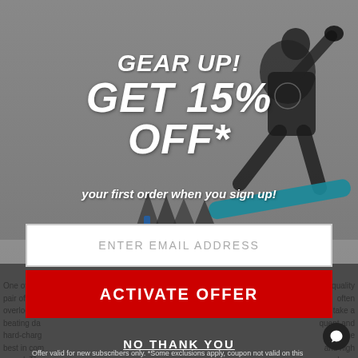S  Small
$3
[Figure (photo): Athlete on snowboard performing trick, shot outdoors in winter setting with trees in background]
GEAR UP! GET 15% OFF*
your first order when you sign up!
ENTER EMAIL ADDRESS
ACTIVATE OFFER
NO THANK YOU
Offer valid for new subscribers only. *Some exclusions apply, coupon not valid on this season's full price items.
One of the a quality pair of bin often overlooked d take a beating da quent and hard-charg vide the best in com and high speed. Th abuse on their bi he place to pinch pe r a f